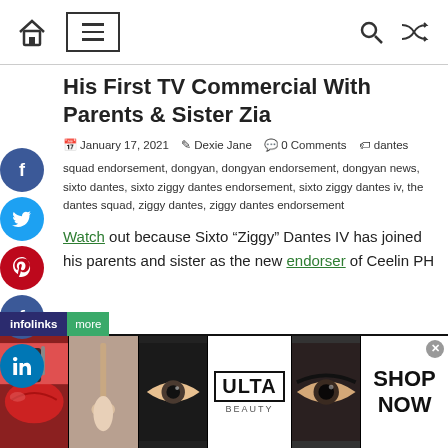[home icon] [menu icon] [search icon] [shuffle icon]
His First TV Commercial With Parents & Sister Zia
January 17, 2021  Dexie Jane  0 Comments  dantes squad endorsement, dongyan, dongyan endorsement, dongyan news, sixto dantes, sixto ziggy dantes endorsement, sixto ziggy dantes iv, the dantes squad, ziggy dantes, ziggy dantes endorsement
Watch out because Sixto “Ziggy” Dantes IV has joined his parents and sister as the new endorser of Ceelin PH
[Figure (screenshot): Ad banner with beauty/makeup images including lips, brush, eyes, ULTA logo, and SHOP NOW text]